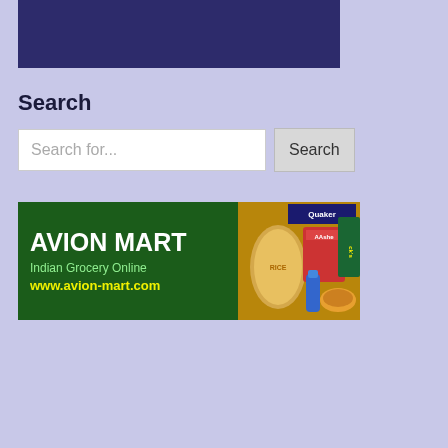[Figure (other): Dark navy/indigo rectangle banner at top of page]
Search
[Figure (screenshot): Search input field with placeholder text 'Search for...' and a Search button]
[Figure (other): Avion Mart advertisement banner with green background showing 'AVION MART', 'Indian Grocery Online', 'www.avion-mart.com' and grocery product images on the right including Quaker oats and other Indian grocery items]